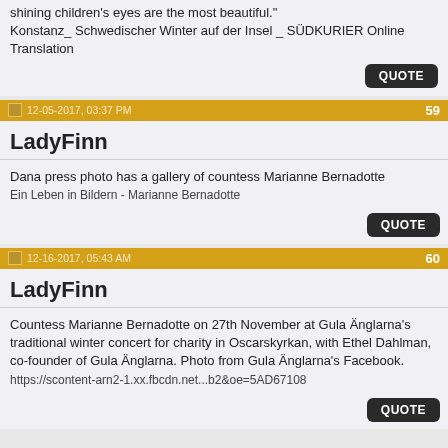shining children's eyes are the most beautiful."
Konstanz_ Schwedischer Winter auf der Insel _ SÜDKURIER Online Translation
QUOTE
12-05-2017, 03:37 PM   59
LadyFinn
Dana press photo has a gallery of countess Marianne Bernadotte
Ein Leben in Bildern - Marianne Bernadotte
QUOTE
12-16-2017, 05:43 AM   60
LadyFinn
Countess Marianne Bernadotte on 27th November at Gula Änglarna's traditional winter concert for charity in Oscarskyrkan, with Ethel Dahlman, co-founder of Gula Änglarna. Photo from Gula Änglarna's Facebook.
https://scontent-arn2-1.xx.fbcdn.net...b2&oe=5AD67108
QUOTE